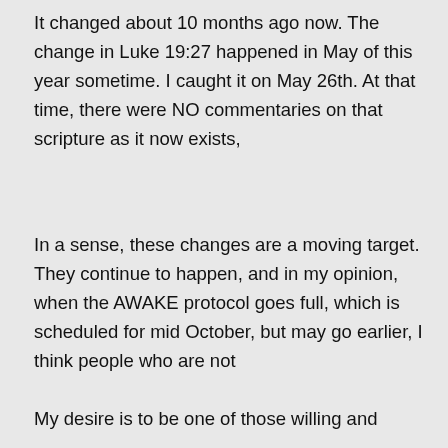It changed about 10 months ago now. The change in Luke 19:27 happened in May of this year sometime. I caught it on May 26th. At that time, there were NO commentaries on that scripture as it now exists,
In a sense, these changes are a moving target. They continue to happen, and in my opinion, when the AWAKE protocol goes full, which is scheduled for mid October, but may go earlier, I think people who are not
My desire is to be one of those willing and
Privacy & Cookies: This site uses cookies. By continuing to use this website, you agree to their use.
To find out more, including how to control cookies, see here: Cookie Policy